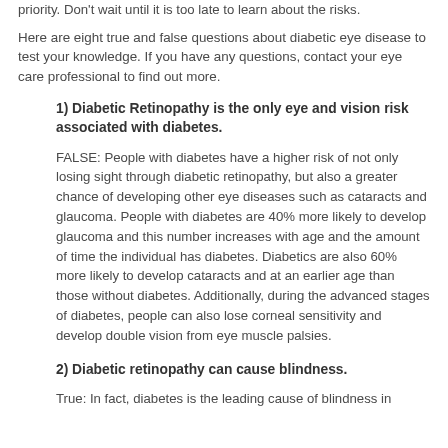priority. Don't wait until it is too late to learn about the risks.
Here are eight true and false questions about diabetic eye disease to test your knowledge. If you have any questions, contact your eye care professional to find out more.
1) Diabetic Retinopathy is the only eye and vision risk associated with diabetes.
FALSE: People with diabetes have a higher risk of not only losing sight through diabetic retinopathy, but also a greater chance of developing other eye diseases such as cataracts and glaucoma. People with diabetes are 40% more likely to develop glaucoma and this number increases with age and the amount of time the individual has diabetes. Diabetics are also 60% more likely to develop cataracts and at an earlier age than those without diabetes. Additionally, during the advanced stages of diabetes, people can also lose corneal sensitivity and develop double vision from eye muscle palsies.
2) Diabetic retinopathy can cause blindness.
True: In fact, diabetes is the leading cause of blindness in